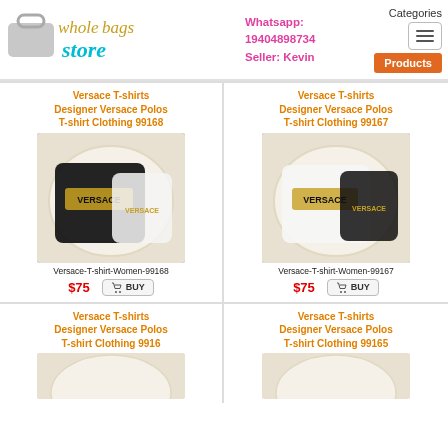[Figure (logo): Wholebags Store logo with a bag icon, stylized text in gold and teal]
Whatsapp:
19404898734
Seller: Kevin
Categories
Products
Versace T-shirts Designer Versace Polos T-shirt Clothing 99168
[Figure (photo): Versace T-shirt Women product photo showing black and white shirts with gold Versace print]
Versace-T-shirt-Women-99168
$75
BUY
Versace T-shirts Designer Versace Polos T-shirt Clothing 99167
[Figure (photo): Versace T-shirt Women product photo showing white and black shirts with gold Versace print]
Versace-T-shirt-Women-99167
$75
BUY
Versace T-shirts Designer Versace Polos T-shirt Clothing 9916
Versace T-shirts Designer Versace Polos T-shirt Clothing 99165